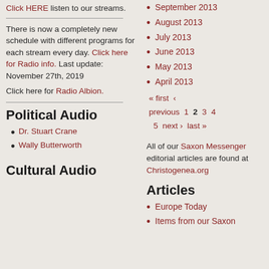Click HERE listen to our streams.
There is now a completely new schedule with different programs for each stream every day. Click here for Radio info. Last update: November 27th, 2019
Click here for Radio Albion.
Political Audio
Dr. Stuart Crane
Wally Butterworth
Cultural Audio
September 2013
August 2013
July 2013
June 2013
May 2013
April 2013
« first ‹ previous 1 2 3 4 5 next › last »
All of our Saxon Messenger editorial articles are found at Christogenea.org
Articles
Europe Today
Items from our Saxon